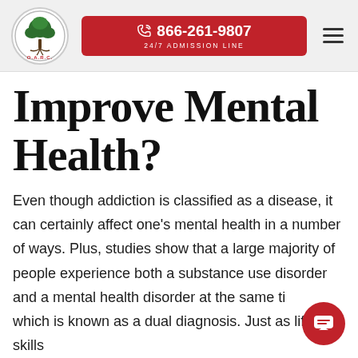[Figure (logo): O.A.R.C. logo — circular badge with a green tree and roots, text 'O.A.R.C.' around the bottom]
[Figure (other): Red button showing phone number 866-261-9807 and text '24/7 ADMISSION LINE']
[Figure (other): Hamburger menu icon with three horizontal lines]
Improve Mental Health?
Even though addiction is classified as a disease, it can certainly affect one's mental health in a number of ways. Plus, studies show that a large majority of people experience both a substance use disorder and a mental health disorder at the same time, which is known as a dual diagnosis. Just as life skills